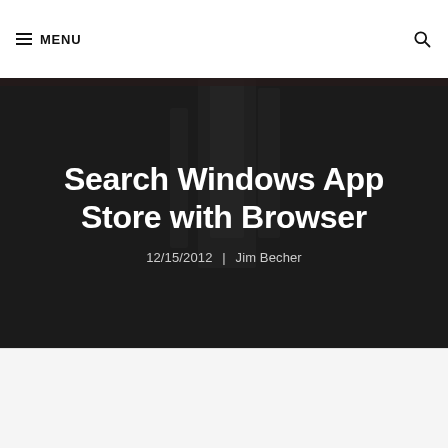MENU
Search Windows App Store with Browser
12/15/2012  |  Jim Becher